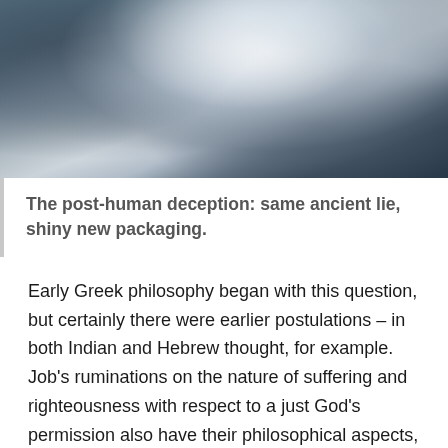[Figure (photo): A humanoid robot with a chrome/metallic silver finish, shown from the upper torso and head, bending slightly forward. The background is a muted teal-gray. The robot has a smooth rounded helmet-like head and detailed mechanical body.]
The post-human deception: same ancient lie, shiny new packaging.
Early Greek philosophy began with this question, but certainly there were earlier postulations – in both Indian and Hebrew thought, for example. Job's ruminations on the nature of suffering and righteousness with respect to a just God's permission also have their philosophical aspects, and may likely be dated prior to the Pre-Socratics. Modern man, in his hubris, believes himself a perfectly self-sufficient